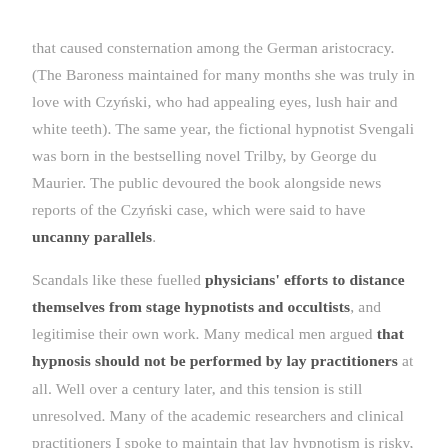that caused consternation among the German aristocracy. (The Baroness maintained for many months she was truly in love with Czyński, who had appealing eyes, lush hair and white teeth). The same year, the fictional hypnotist Svengali was born in the bestselling novel Trilby, by George du Maurier. The public devoured the book alongside news reports of the Czyński case, which were said to have uncanny parallels. Scandals like these fuelled physicians' efforts to distance themselves from stage hypnotists and occultists, and legitimise their own work. Many medical men argued that hypnosis should not be performed by lay practitioners at all. Well over a century later, and this tension is still unresolved. Many of the academic researchers and clinical practitioners I spoke to maintain that lay hypnotism is risky, and its